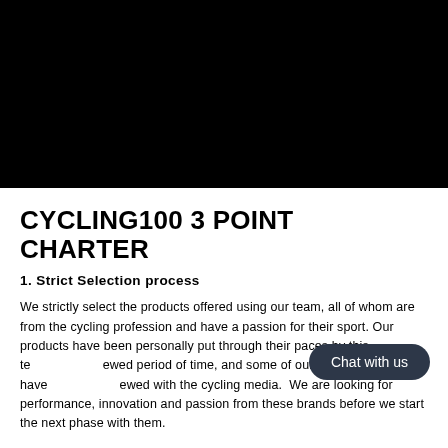[Figure (photo): Black banner/image area at the top of the page]
CYCLING100 3 POINT CHARTER
1. Strict Selection process
We strictly select the products offered using our team, all of whom are from the cycling profession and have a passion for their sport. Our products have been personally put through their paces by this team over an extended period of time, and some of our key products have been reviewed with the cycling media.  We are looking for performance, innovation and passion from these brands before we start the next phase with them.